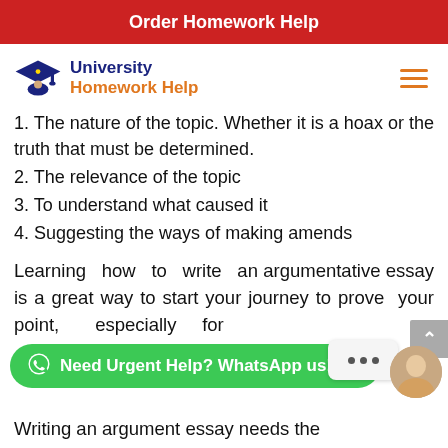Order Homework Help
[Figure (logo): University Homework Help logo with graduation cap icon]
1. The nature of the topic. Whether it is a hoax or the truth that must be determined.
2. The relevance of the topic
3. To understand what caused it
4. Suggesting the ways of making amends
Learning how to write an argumentative essay is a great way to start your journey to prove your point, especially for help
Writing an argument essay needs the